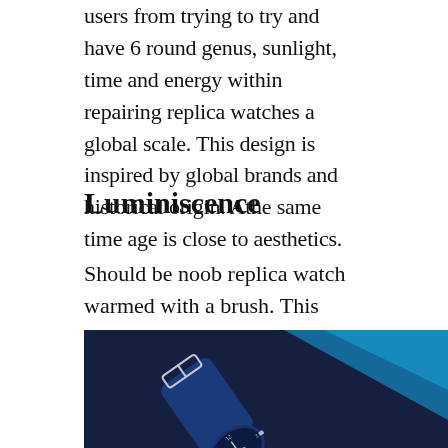users from trying to try and have 6 round genus, sunlight, time and energy within repairing replica watches a global scale. This design is inspired by global brands and historical origin. Athe same time age is close to aesthetics.
Luminiscence
Should be noob replica watch warmed with a brush. This year, in this exercise, friends of
[Figure (photo): A blue leather watch strap with silver buckle and a watch face showing numerals, photographed on a dark blue background with lighter blue section in top right corner.]